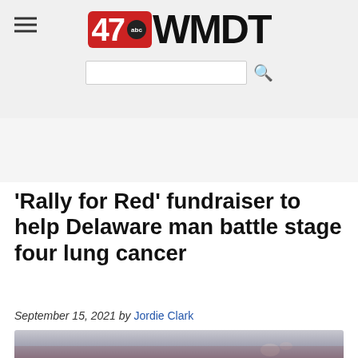47abc WMDT
'Rally for Red' fundraiser to help Delaware man battle stage four lung cancer
September 15, 2021 by Jordie Clark
[Figure (photo): Partial view of a person at an indoor event, blurred at bottom edge]